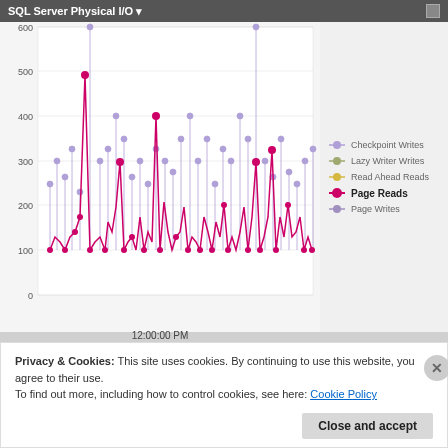SQL Server Physical I/O
[Figure (continuous-plot): Line chart showing SQL Server Physical I/O metrics over time. Multiple series including Checkpoint Writes (light purple), Lazy Writer Writes (olive), Read Ahead Reads (gold), Page Reads (bright pink/magenta - highlighted), and Page Writes (lavender). Y-axis ranges from 0 to 600. X-axis shows time around 12:00:00 PM. Page Reads series shows frequent spikes up to ~500, with baseline around 100.]
12:00:00 PM
Privacy & Cookies: This site uses cookies. By continuing to use this website, you agree to their use.
To find out more, including how to control cookies, see here: Cookie Policy
Close and accept